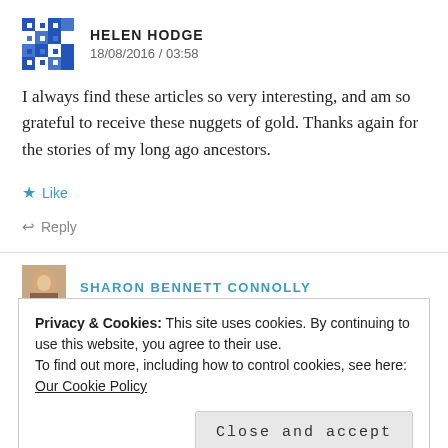[Figure (illustration): Blue and white pixel/mosaic pattern avatar icon for Helen Hodge]
HELEN HODGE
18/08/2016 / 03:58
I always find these articles so very interesting, and am so grateful to receive these nuggets of gold. Thanks again for the stories of my long ago ancestors.
★ Like
↩ Reply
[Figure (photo): Small profile photo thumbnail of Sharon Bennett Connolly]
SHARON BENNETT CONNOLLY
Privacy & Cookies: This site uses cookies. By continuing to use this website, you agree to their use.
To find out more, including how to control cookies, see here: Our Cookie Policy
Close and accept
↩ Reply